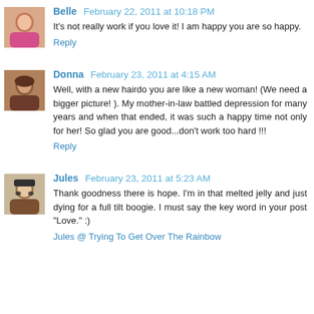Belle  February 22, 2011 at 10:18 PM
It's not really work if you love it! I am happy you are so happy.
Reply
Donna  February 23, 2011 at 4:15 AM
Well, with a new hairdo you are like a new woman! (We need a bigger picture! ). My mother-in-law battled depression for many years and when that ended, it was such a happy time not only for her! So glad you are good...don't work too hard !!!
Reply
Jules  February 23, 2011 at 5:23 AM
Thank goodness there is hope. I'm in that melted jelly and just dying for a full tilt boogie. I must say the key word in your post "Love." :)
Jules @ Trying To Get Over The Rainbow